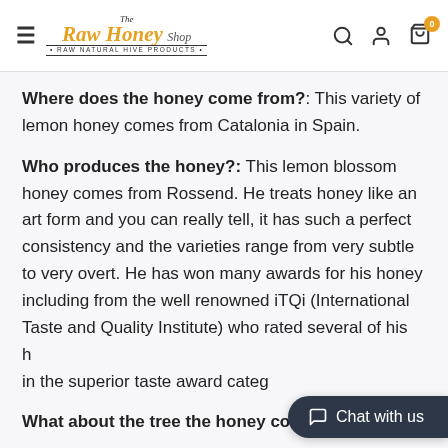The Raw Honey Shop · RAW NATURAL HIVE PRODUCTS
Where does the honey come from?: This variety of lemon honey comes from Catalonia in Spain.
Who produces the honey?: This lemon blossom honey comes from Rossend. He treats honey like an art form and you can really tell, it has such a perfect consistency and the varieties range from very subtle to very overt. He has won many awards for his honey including from the well renowned iTQi (International Taste and Quality Institute) who rated several of his honeys in the superior taste award category.
What about the tree the honey comes from?: